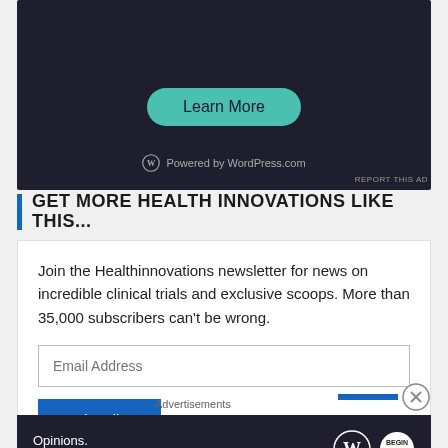[Figure (screenshot): Dark-themed advertisement banner with 'Learn More' teal rounded button and 'Powered by WordPress.com' footer text with WordPress logo]
REPORT THIS AD
GET MORE HEALTH INNOVATIONS LIKE THIS...
Join the Healthinnovations newsletter for news on incredible clinical trials and exclusive scoops. More than 35,000 subscribers can't be wrong.
[Figure (screenshot): Email Address input field]
[Figure (screenshot): Subscribe button in blue]
Advertisements
[Figure (screenshot): Dark advertisement banner reading 'Opinions. We all have them!' with WordPress logo and another circular logo]